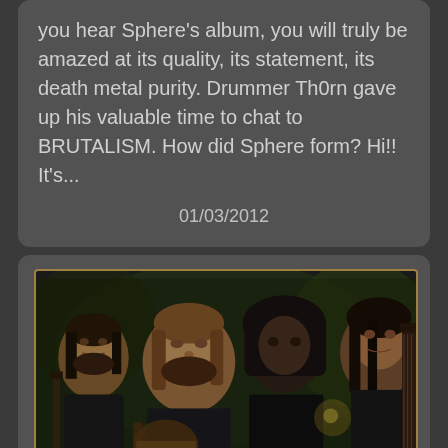you hear Sphere's album, you will truly be amazed at its quality, its statement, its death metal purity. Drummer Th0rn gave up his valuable time to chat to BRUTALISM. How did Sphere form? Hi!! It's...
01/03/2012
[Figure (photo): Band photo showing four male musicians with long hair, some holding guitars, dark moody lighting against a green/dark background]
Acoustic, Rekkid Villentet...